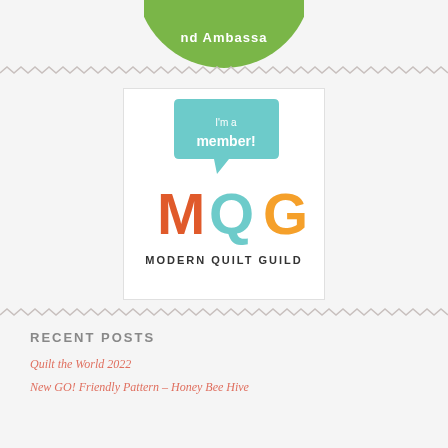[Figure (logo): Partial green circular ambassador badge/logo, cropped at top of page]
[Figure (logo): Modern Quilt Guild 'I'm a member!' badge showing colorful MQG letters with speech bubble]
RECENT POSTS
Quilt the World 2022
New GO! Friendly Pattern – Honey Bee Hive